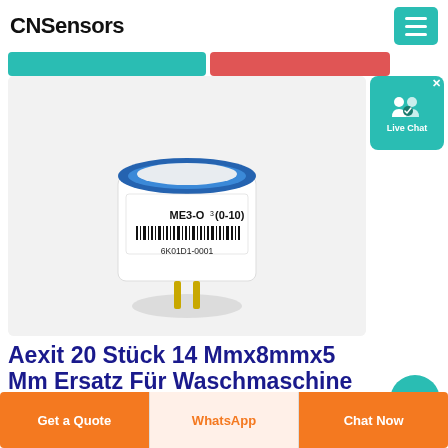CNSensors
[Figure (photo): A small cylindrical electrochemical gas sensor labeled ME3-O3 (0-10) with barcode and serial number 6K01D1-0001, having a blue top ring and gold pins at the bottom, on a white/light gray background.]
[Figure (infographic): Live Chat widget with two person icons and a chat icon, teal background, white text reading 'Live Chat', with an X close button.]
Aexit 20 Stück 14 Mmx8mmx5 Mm Ersatz Für Waschmaschine
Get a Quote
WhatsApp
Chat Now